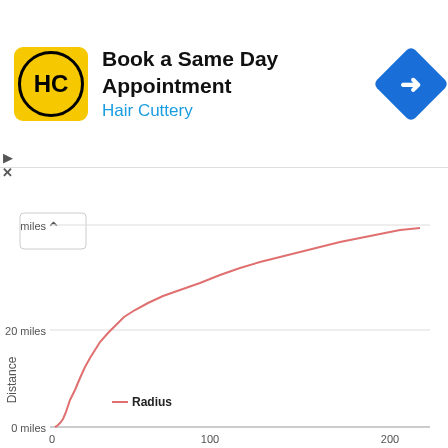[Figure (screenshot): Hair Cuttery advertisement banner: Book a Same Day Appointment]
[Figure (continuous-plot): Line chart showing Distance (miles) on y-axis vs x-axis (0 to 200), with a Radius curve starting near 0 at x=0 and rising steeply then flattening to about 40+ miles at x=100+. CanvasJS.com and CanvasJS Trial watermarks.]
+ Load more nearby shelters
RESOURCES
New Hampshire Food Banks
We list thousands of soup kitchens and food banks all across the nation.
Free Dental Care Clinics